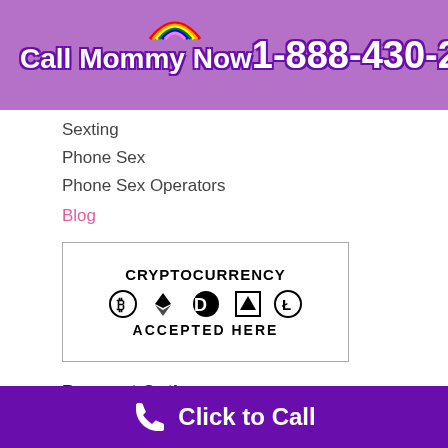Call Mommy Now 1-888-430-2010
Sexting
Phone Sex
Phone Sex Operators
Blog
[Figure (logo): Cryptocurrency Accepted Here badge with Bitcoin, Ethereum, Dash, Monero, and Litecoin icons]
Payment Options
Click-to-Call
Pay Online
Billing
[Figure (logo): Safe & Secure badge with padlock icon]
Click to Call